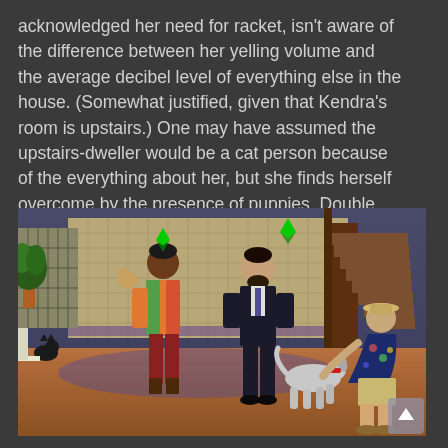acknowledged her need for racket, isn't aware of the difference between her yelling volume and the average decibel level of everything else in the house. (Somewhat justified, given that Kendra's room is upstairs.) One may have assumed the upstairs-dweller would be a cat person because of the everything about her, but she finds herself overcome by the presence of puppies. Double puppies.
[Figure (screenshot): A screenshot from The Sims 4 showing three Sim characters in an indoor room with a tiled wall and wooden staircase. One Sim in colorful clothing holds a small animal, a second Sim in a dark suit stands in the middle, and a third Sim in a floral shirt bends down toward a dog. Green plumbobs float above two of the Sims.]